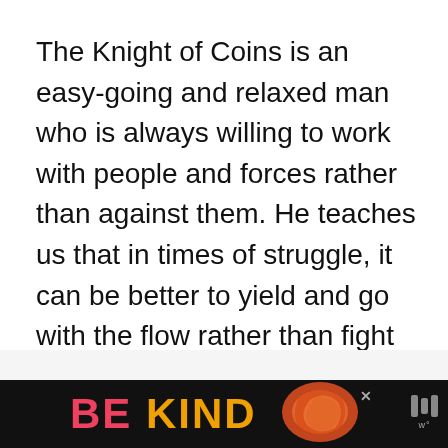The Knight of Coins is an easy-going and relaxed man who is always willing to work with people and forces rather than against them. He teaches us that in times of struggle, it can be better to yield and go with the flow rather than fight and resist what the universe is trying to teach us.
[Figure (other): Advertisement banner at the bottom of the page with black background. Text reads 'BE KIND' in large letters (BE in pink/red, KIND in orange/yellow), with a decorative illustrated graphic on the right side, a close button (x), and a speaker/audio icon on the far right.]